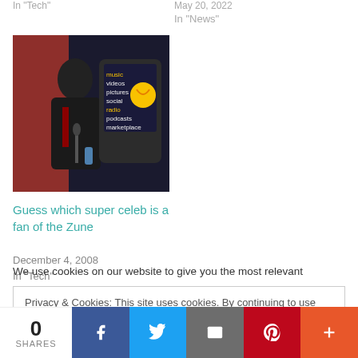In "Tech"
May 20, 2022
In "News"
[Figure (photo): Photo of Barack Obama at a podium next to a Zune device display showing music, videos, pictures, social, radio, podcasts, marketplace menu]
Guess which super celeb is a fan of the Zune
December 4, 2008
In "Tech"
We use cookies on our website to give you the most relevant
Privacy & Cookies: This site uses cookies. By continuing to use this website, you agree to their use.
To find out more, including how to control cookies, see here: Cookie Policy
0
SHARES